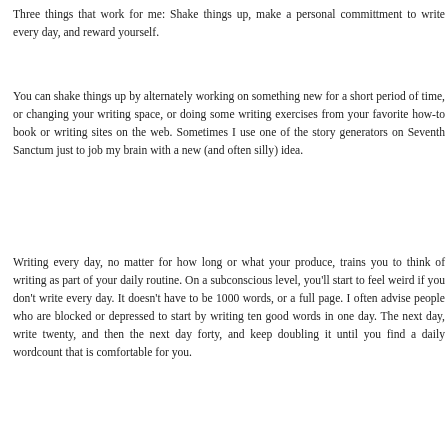Three things that work for me: Shake things up, make a personal committment to write every day, and reward yourself.
You can shake things up by alternately working on something new for a short period of time, or changing your writing space, or doing some writing exercises from your favorite how-to book or writing sites on the web. Sometimes I use one of the story generators on Seventh Sanctum just to job my brain with a new (and often silly) idea.
Writing every day, no matter for how long or what your produce, trains you to think of writing as part of your daily routine. On a subconscious level, you'll start to feel weird if you don't write every day. It doesn't have to be 1000 words, or a full page. I often advise people who are blocked or depressed to start by writing ten good words in one day. The next day, write twenty, and then the next day forty, and keep doubling it until you find a daily wordcount that is comfortable for you.